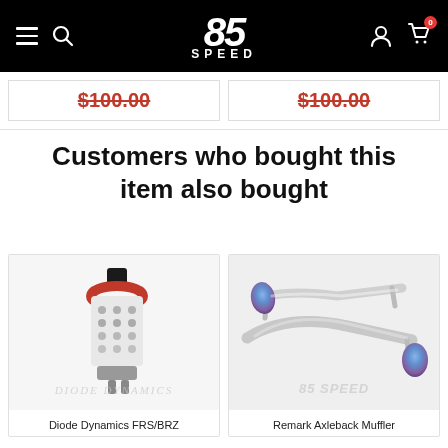85 SPEED
$100.00  $100.00
Customers who bought this item also bought
[Figure (photo): LED bulb product photo - Diode Dynamics FRS/BRZ bulb with red ring and LED array, with Diode Dynamics watermark]
[Figure (photo): Exhaust muffler product photo - Remark Axleback Muffler with dual titanium-tipped polished pipes, with 85Speed watermark]
Diode Dynamics FRS/BRZ
Remark Axleback Muffler